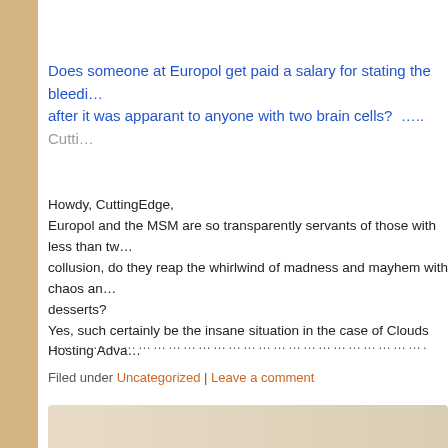Does someone at Europol get paid a salary for stating the bleedi… after it was apparant to anyone with two brain cells? ….. Cutting
Howdy, CuttingEdge,
Europol and the MSM are so transparently servants of those with less than tw… collusion, do they reap the whirlwind of madness and mayhem with chaos an… desserts?
Yes, such certainly be the insane situation in the case of Clouds Hosting Adva…
…………………………………………………………………
Filed under Uncategorized | Leave a comment
DEC 26 — 161226 — Posted on December 26, 2016 by ur2die4
amanfromMars said… chatting with Serge C on https://amanfrommars.blogsp…
Wild Wacky Western Great Game thinking is a rough diamond in an electric s…
MainStream Media isn't working properly. It is shorting out/short circuiting.
That surely presents the East with a massive opportunity to lead the future wa…